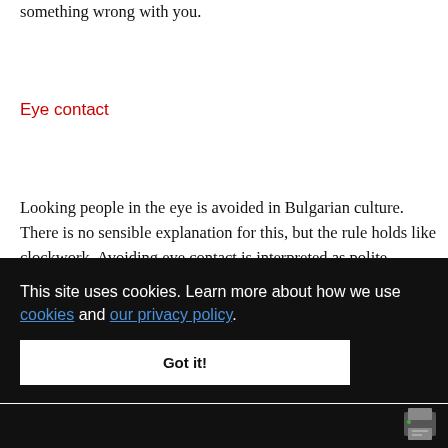something wrong with you.
Eye contact
Looking people in the eye is avoided in Bulgarian culture. There is no sensible explanation for this, but the rule holds like clockwork. Avoiding eye contact is interpreted as polite behaviour; looking someone in the eye usually mean disobedience and disrespect, and between men and women has sexual connotations.
This site uses cookies. Learn more about how we use cookies and our privacy policy.
Got it!
x. It